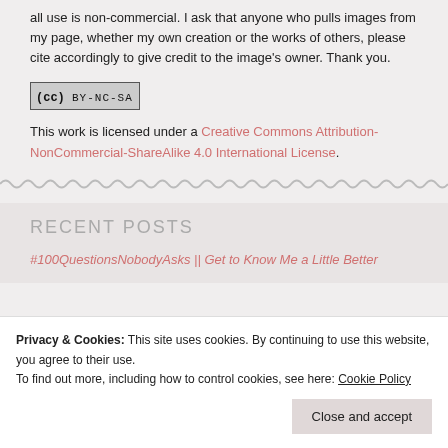all use is non-commercial. I ask that anyone who pulls images from my page, whether my own creation or the works of others, please cite accordingly to give credit to the image's owner. Thank you.
[Figure (logo): Creative Commons BY-NC-SA badge]
This work is licensed under a Creative Commons Attribution-NonCommercial-ShareAlike 4.0 International License.
RECENT POSTS
#100QuestionsNobodyAsks || Get to Know Me a Little Better
Privacy & Cookies: This site uses cookies. By continuing to use this website, you agree to their use.
To find out more, including how to control cookies, see here: Cookie Policy